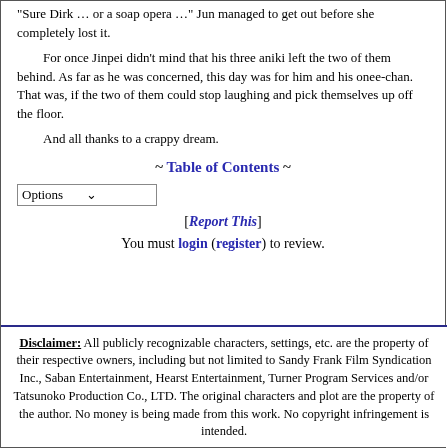"Sure Dirk … or a soap opera …" Jun managed to get out before she completely lost it.
For once Jinpei didn't mind that his three aniki left the two of them behind. As far as he was concerned, this day was for him and his onee-chan. That was, if the two of them could stop laughing and pick themselves up off the floor.
And all thanks to a crappy dream.
~ Table of Contents ~
[Report This]
You must login (register) to review.
Disclaimer: All publicly recognizable characters, settings, etc. are the property of their respective owners, including but not limited to Sandy Frank Film Syndication Inc., Saban Entertainment, Hearst Entertainment, Turner Program Services and/or Tatsunoko Production Co., LTD. The original characters and plot are the property of the author. No money is being made from this work. No copyright infringement is intended.